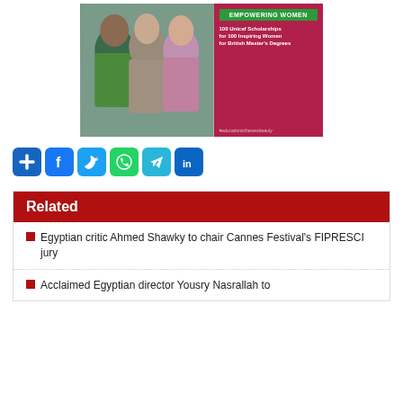[Figure (illustration): Banner image for Unicaf Empowering Women scholarship promotion. Shows three smiling women. Text overlay reads: EMPOWERING WOMEN, 100 Unicaf Scholarships for 100 Inspiring Women for British Master's Degrees, #educationisthenewbeauty]
[Figure (infographic): Row of social media share buttons: plus/share, Facebook, Twitter, WhatsApp, Telegram, LinkedIn]
Related
Egyptian critic Ahmed Shawky to chair Cannes Festival's FIPRESCI jury
Acclaimed Egyptian director Yousry Nasrallah to